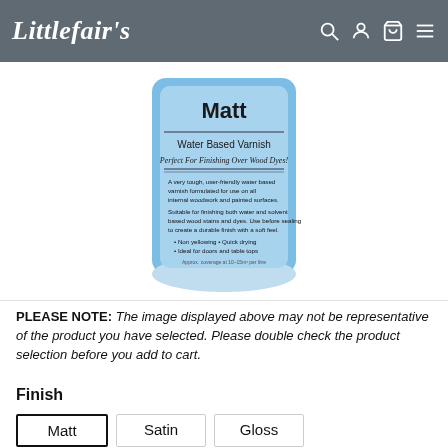Littlefair's
[Figure (photo): A blue cylindrical bottle of Littlefair's Matt Water Based Varnish product, showing label text including 'Matt', 'Water Based Varnish', 'Perfect For Finishing Over Wood Dyes!' and product description text. White background.]
PLEASE NOTE: The image displayed above may not be representative of the product you have selected. Please double check the product selection before you add to cart.
Finish
Matt  Satin  Gloss